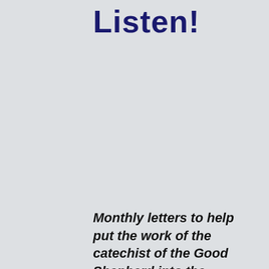Listen!
Monthly letters to help put the work of the catechist of the Good Shepherd into the context of the larger